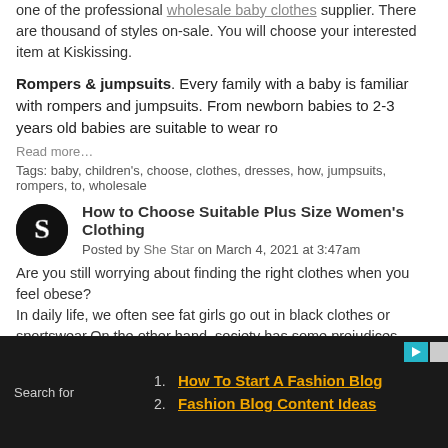one of the professional wholesale baby clothes supplier. There are thousand of styles on-sale. You will choose your interested item at Kiskissing.
Rompers & jumpsuits. Every family with a baby is familiar with rompers and jumpsuits. From newborn babies to 2-3 years old babies are suitable to wear ro
Read more…
Tags: baby, children's, choose, clothes, dresses, how, jumpsuits, rompers, to, wholesale
How to Choose Suitable Plus Size Women's Clothing
Posted by She Star on March 4, 2021 at 3:47am
Are you still worrying about finding the right clothes when you feel obese?
In daily life, we often see fat girls go out in black clothes or sportswear.On the other hand, society has some prejudices against fat girls: no self-discipline, no beauty, laziness... Don't fat girls dare...
1. How To Start A Fashion Blog
2. Fashion Blog Content Ideas
Search for